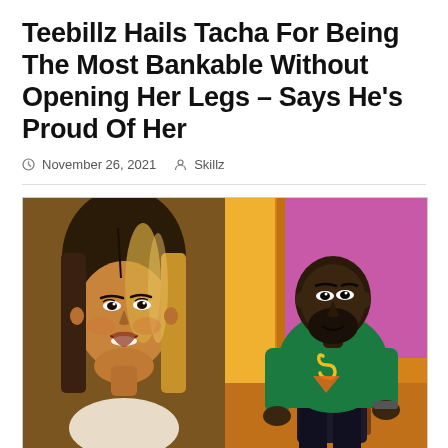Teebillz Hails Tacha For Being The Most Bankable Without Opening Her Legs – Says He's Proud Of Her
November 26, 2021   Skillz
[Figure (photo): Side-by-side composite photo: left side shows a woman (Tacha) with a straight bob wig, brown/golden tones, smiling, against a brown background; right side shows a man (Teebillz) wearing a green long-sleeve top with a yellow S logo, sitting and looking at the camera, against a yellow/colorful background.]